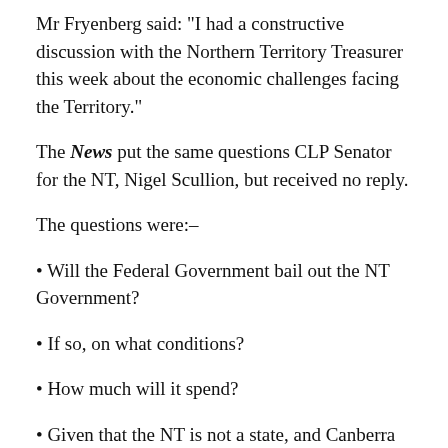Mr Fryenberg said: "I had a constructive discussion with the Northern Territory Treasurer this week about the economic challenges facing the Territory."
The News put the same questions CLP Senator for the NT, Nigel Scullion, but received no reply.
The questions were:–
• Will the Federal Government bail out the NT Government?
• If so, on what conditions?
• How much will it spend?
• Given that the NT is not a state, and Canberra can overturn NT decisions, and that the preceding (Giles) government, without Federal consent and knowledge, sold the 99 year